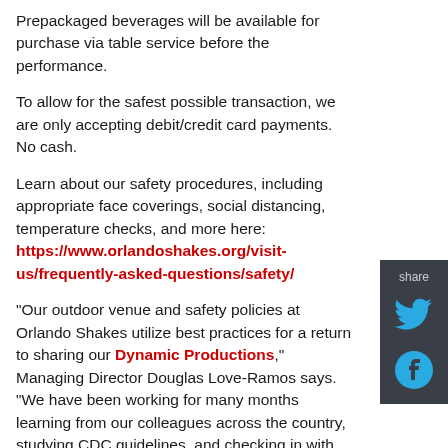Prepackaged beverages will be available for purchase via table service before the performance.
To allow for the safest possible transaction, we are only accepting debit/credit card payments. No cash.
Learn about our safety procedures, including appropriate face coverings, social distancing, temperature checks, and more here: https://www.orlandoshakes.org/visit-us/frequently-asked-questions/safety/
"Our outdoor venue and safety policies at Orlando Shakes utilize best practices for a return to sharing our Dynamic Productions," Managing Director Douglas Love-Ramos says. "We have been working for many months learning from our colleagues across the country, studying CDC guidelines, and checking in with our healthcare partner AdventHealth. We
[Figure (infographic): Dark gray share panel on the right side with a 'share' label, a Twitter bird icon in cyan/blue, and a Facebook circle icon in cyan/blue.]